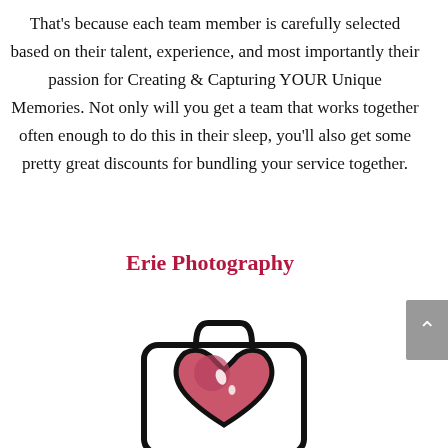That's because each team member is carefully selected based on their talent, experience, and most importantly their passion for Creating & Capturing YOUR Unique Memories. Not only will you get a team that works together often enough to do this in their sleep, you'll also get some pretty great discounts for bundling your service together.
Erie Photography
[Figure (illustration): Cartoon illustration of a camera with a pink heart inside it, in a bold outline comic style.]